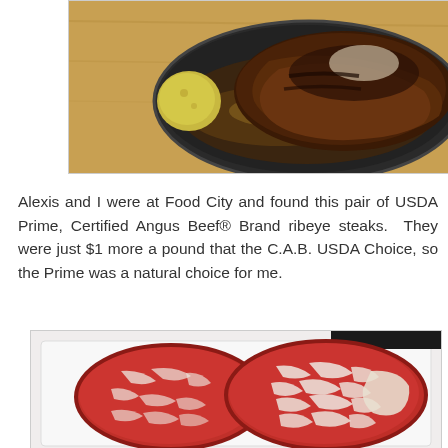[Figure (photo): A cooked ribeye steak with a potato in a black cast iron skillet/oval plate, viewed from above on a wooden surface. The steak appears seasoned and well-seared.]
Alexis and I were at Food City and found this pair of USDA Prime, Certified Angus Beef® Brand ribeye steaks. They were just $1 more a pound that the C.A.B. USDA Choice, so the Prime was a natural choice for me.
[Figure (photo): Two raw ribeye steaks side by side on a white cutting board. The left steak shows moderate marbling (USDA Choice), and the right steak shows heavier marbling (USDA Prime). Both are thick-cut ribeye steaks.]